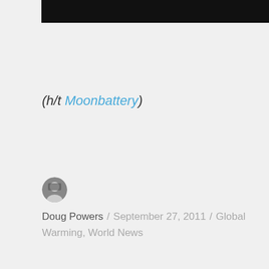[Figure (other): Black banner/header bar at top of page]
(h/t Moonbattery)
Doug Powers / September 27, 2011 / Global Warming, World News